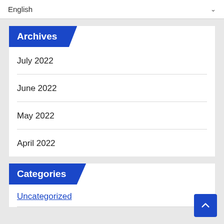English
Archives
July 2022
June 2022
May 2022
April 2022
Categories
Uncategorized